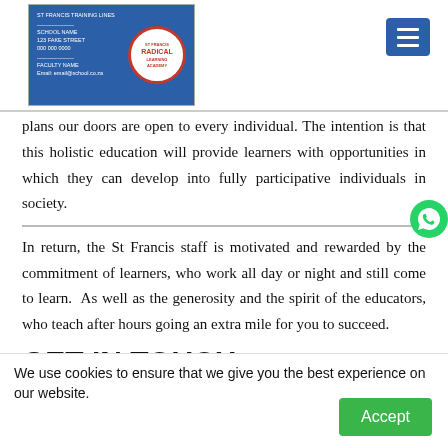[Figure (logo): St Francis Radical Learning Academy header logo with blue background and red circular badge, plus hamburger menu button]
plans our doors are open to every individual. The intention is that this holistic education will provide learners with opportunities in which they can develop into fully participative individuals in society.
In return, the St Francis staff is motivated and rewarded by the commitment of learners, who work all day or night and still come to learn. As well as the generosity and the spirit of the educators, who teach after hours going an extra mile for you to succeed.
GET IN TOUCH
Merrydale Centre
We use cookies to ensure that we give you the best experience on our website.